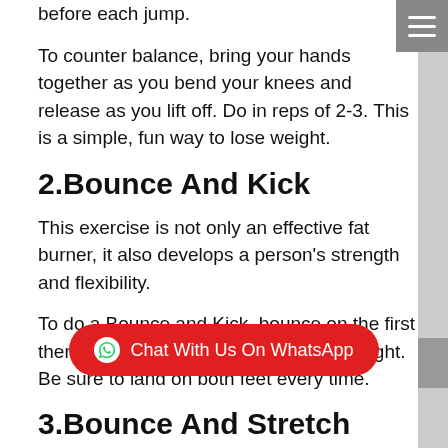before each jump.
To counter balance, bring your hands together as you bend your knees and release as you lift off. Do in reps of 2-3. This is a simple, fun way to lose weight.
2.Bounce And Kick
This exercise is not only an effective fat burner, it also develops a person’s strength and flexibility.
To do a Bounce and Kick, bounce on the first then kick up with one foot as you take flight. Be sure to land on both feet every time.
3.Bounce And Stretch